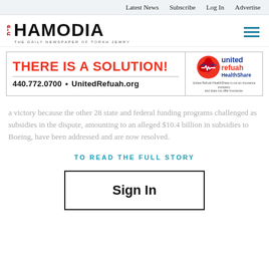Latest News   Subscribe   Log In   Advertise
[Figure (logo): Hamodia newspaper logo with Hebrew text and tagline 'THE DAILY NEWSPAPER OF TORAH JEWRY']
[Figure (illustration): United Refuah HealthShare advertisement banner with red text 'THERE IS A SOLUTION!' and contact info '440.772.0700 • UnitedRefuah.org']
a victory because the other 28 state and federal funding programs challenged as subsidies in the dispute, amounting to an alleged $10.4 billion in subsidies to Boeing, have been addressed and are now resolved.
TO READ THE FULL STORY
Sign In